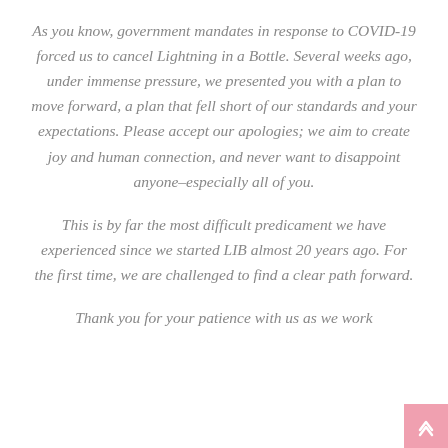As you know, government mandates in response to COVID-19 forced us to cancel Lightning in a Bottle. Several weeks ago, under immense pressure, we presented you with a plan to move forward, a plan that fell short of our standards and your expectations. Please accept our apologies; we aim to create joy and human connection, and never want to disappoint anyone–especially all of you.

This is by far the most difficult predicament we have experienced since we started LIB almost 20 years ago. For the first time, we are challenged to find a clear path forward.

Thank you for your patience with us as we work